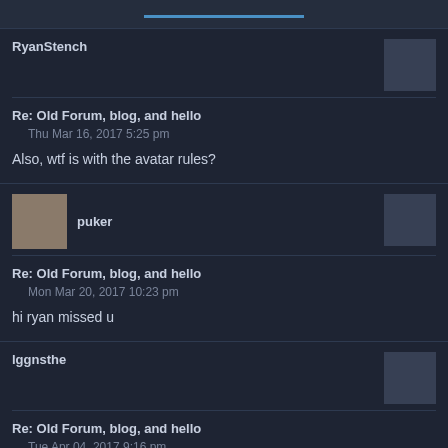RyanStench
Re: Old Forum, blog, and hello
Thu Mar 16, 2017 5:25 pm
Also, wtf is with the avatar rules?
puker
Re: Old Forum, blog, and hello
Mon Mar 20, 2017 10:23 pm
hi ryan missed u
lggnsthe
Re: Old Forum, blog, and hello
Tue Apr 04, 2017 9:16 pm